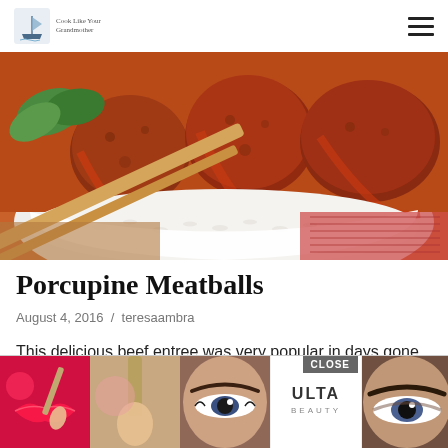Cook Like Your Grandmother [logo] [hamburger menu]
[Figure (photo): Close-up photo of porcupine meatballs in a white bowl with white rice and chopsticks, covered in red tomato sauce, on a red woven cloth background]
Porcupine Meatballs
August 4, 2016  /  teresaambra
This delicious beef entree was very popular in days gone by. The highly seasoned meatballs are cooked in a slightly spicy ... [ad overlay] ... oks fully.
[Figure (screenshot): Advertisement banner overlay: cosmetics/beauty ad with lip gloss, makeup brushes, eye makeup, Ulta Beauty logo, women's eye close-ups, and SHOP NOW button with CLOSE button]